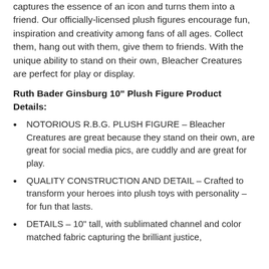captures the essence of an icon and turns them into a friend. Our officially-licensed plush figures encourage fun, inspiration and creativity among fans of all ages. Collect them, hang out with them, give them to friends. With the unique ability to stand on their own, Bleacher Creatures are perfect for play or display.
Ruth Bader Ginsburg 10" Plush Figure Product Details:
NOTORIOUS R.B.G. PLUSH FIGURE – Bleacher Creatures are great because they stand on their own, are great for social media pics, are cuddly and are great for play.
QUALITY CONSTRUCTION AND DETAIL – Crafted to transform your heroes into plush toys with personality – for fun that lasts.
DETAILS – 10" tall, with sublimated channel and color matched fabric capturing the brilliant justice,